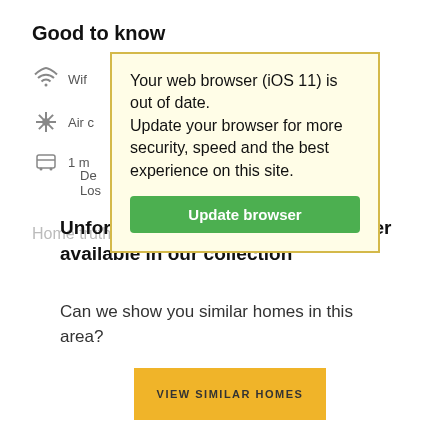Good to know
Wifi
Air conditioning
1 min · De Los (bus stop)
[Figure (screenshot): Browser update warning popup with yellow background. Text: 'Your web browser (iOS 11) is out of date. Update your browser for more security, speed and the best experience on this site.' Green button: 'Update browser']
Home truths
Unfortunately this home is no longer available in our collection
Can we show you similar homes in this area?
VIEW SIMILAR HOMES